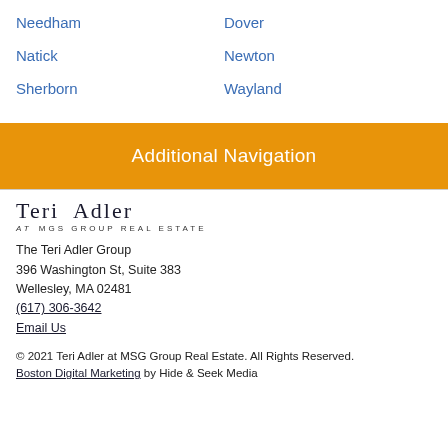Needham
Dover
Natick
Newton
Sherborn
Wayland
Additional Navigation
[Figure (logo): Teri Adler at MGS Group Real Estate logo]
The Teri Adler Group
396 Washington St, Suite 383
Wellesley, MA 02481
(617) 306-3642
Email Us
© 2021 Teri Adler at MSG Group Real Estate. All Rights Reserved.
Boston Digital Marketing by Hide & Seek Media